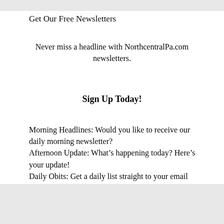Get Our Free Newsletters
Never miss a headline with NorthcentralPa.com newsletters.
Sign Up Today!
Morning Headlines: Would you like to receive our daily morning newsletter?
Afternoon Update: What’s happening today? Here’s your update!
Daily Obits: Get a daily list straight to your email inbox.